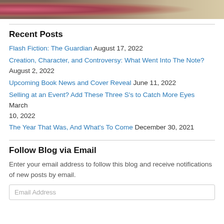[Figure (photo): Cropped photo strip showing textured fabrics in pink/red and beige/tan tones]
Recent Posts
Flash Fiction: The Guardian August 17, 2022
Creation, Character, and Controversy: What Went Into The Note? August 2, 2022
Upcoming Book News and Cover Reveal June 11, 2022
Selling at an Event? Add These Three S's to Catch More Eyes March 10, 2022
The Year That Was, And What's To Come December 30, 2021
Follow Blog via Email
Enter your email address to follow this blog and receive notifications of new posts by email.
Email Address